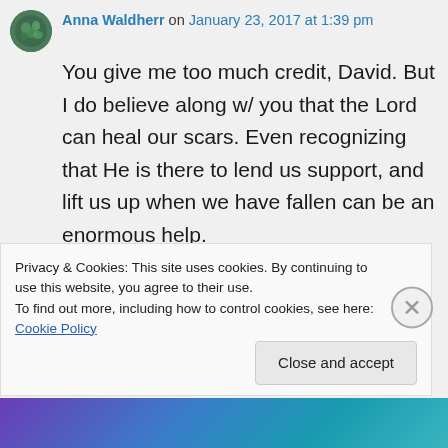Anna Waldherr on January 23, 2017 at 1:39 pm
You give me too much credit, David. But I do believe along w/ you that the Lord can heal our scars. Even recognizing that He is there to lend us support, and lift us up when we have fallen can be an enormous help.
So often the Lord values the very things about us we would dismiss and discard.
Privacy & Cookies: This site uses cookies. By continuing to use this website, you agree to their use.
To find out more, including how to control cookies, see here: Cookie Policy